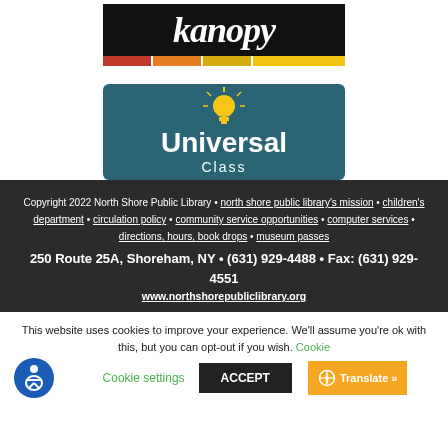[Figure (logo): Kanopy streaming service logo — white text 'kanopy' on black background with colored horizontal bars (red, orange, gold)]
[Figure (logo): Universal Class logo — white text 'Universal Class' on teal/dark blue background with yellow lightbulb icon]
Copyright 2022 North Shore Public Library • north shore public library's mission • children's department • circulation policy • community service opportunities • computer services • directions, hours, book drops • museum passes
250 Route 25A, Shoreham, NY • (631) 929-4488 • Fax: (631) 929-4551
www.northshorepubliclibrary.org
This website uses cookies to improve your experience. We'll assume you're ok with this, but you can opt-out if you wish. Cookie settings  ACCEPT